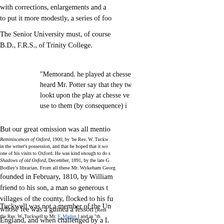with corrections, enlargements and a… to put it more modestly, a series of foo…
The Senior University must, of course… B.D., F.R.S., of Trinity College.
"Memorand. he played at chesse… heard Mr. Potter say that they tw… lookt upon the play at chesse ve… use to them (by consequence) i…
But our great omission was all mentio…
Reminiscences of Oxford, 1900, by 'be Rev. W. Tuckw… in the writer's possession, and that he hoped that it wo… one of his visits to Oxford. He was kind enough to do s… Shadows of old Oxford, December, 1891, by the late G…
Bodley's librarian. From all these Mr. Wykeham Georg… founded in February, 1810, by William… friend to his son, a man so generous t… villages of the county, flocked to his fu… whose fee was a guinea a lesson [Rem… England, and when challenged by a L… pocket. He had a marvellous memory,… verse rendering of an Italian song.
Tuckwell was not a member of the Un…
the Rev. W. Tuckwell to Mr. F. Madan.] and as "th…